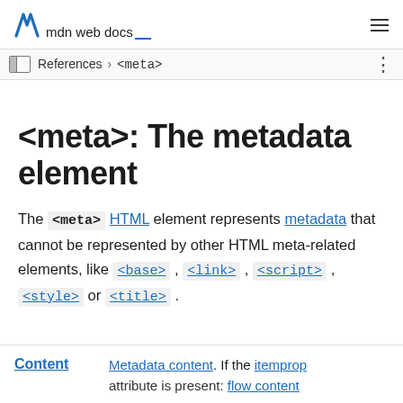M mdn web docs
References > <meta>
<meta>: The metadata element
The <meta> HTML element represents metadata that cannot be represented by other HTML meta-related elements, like <base>, <link>, <script>, <style> or <title>.
Content  Metadata content. If the itemprop attribute is present: flow content